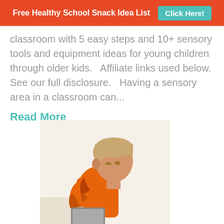Free Healthy School Snack Idea List   Click Here!
classroom with 5 easy steps and 10+ sensory tools and equipment ideas for young children through older kids.   Affiliate links used below.  See our full disclosure.   Having a sensory area in a classroom can...
Read More
[Figure (photo): Young boy in orange shirt sitting and looking down at a tablet device]